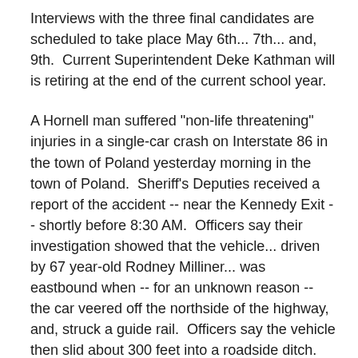Interviews with the three final candidates are scheduled to take place May 6th... 7th... and, 9th.  Current Superintendent Deke Kathman will is retiring at the end of the current school year.
A Hornell man suffered "non-life threatening" injuries in a single-car crash on Interstate 86 in the town of Poland yesterday morning in the town of Poland.  Sheriff's Deputies received a report of the accident -- near the Kennedy Exit -- shortly before 8:30 AM.  Officers say their investigation showed that the vehicle... driven by 67 year-old Rodney Milliner... was eastbound when -- for an unknown reason -- the car veered off the northside of the highway, and, struck a guide rail.  Officers say the vehicle then slid about 300 feet into a roadside ditch.  Milliner was transported to WCA Hospital for treatment.  Deputies say charges are pending.